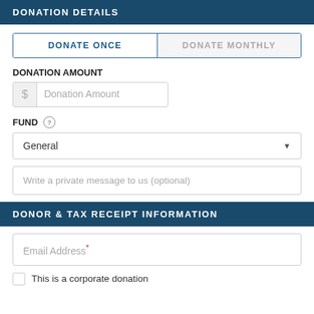DONATION DETAILS
DONATE ONCE | DONATE MONTHLY
DONATION AMOUNT
$ Donation Amount
FUND
General
Write a private message to us (optional)
DONOR & TAX RECEIPT INFORMATION
Email Address*
This is a corporate donation